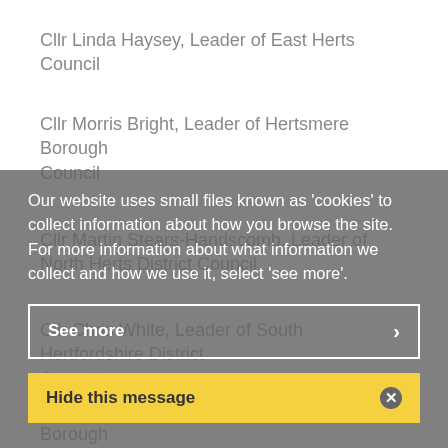Cllr Linda Haysey, Leader of East Herts Council
Cllr Morris Bright, Leader of Hertsmere Borough Council
Cllr Martin Stears-Handscomb, Leader of North Herts District Council
Cllr Chris White, Leader of South Hertfordshire District Council
Cllr Sharon Taylor, Leader of Stevenage Borough Council
Cllr ... Council
Our website uses small files known as 'cookies' to collect information about how you browse the site. For more information about what information we collect and how we use it, select 'see more'.
See more
Hide this message